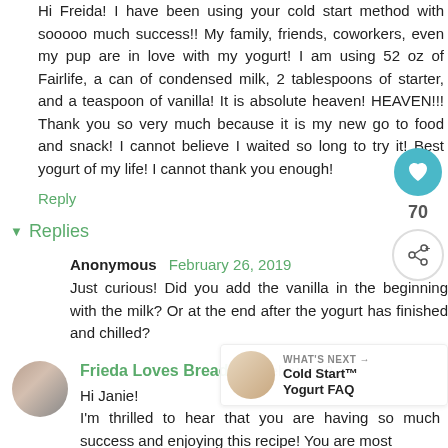Hi Freida! I have been using your cold start method with sooooo much success!! My family, friends, coworkers, even my pup are in love with my yogurt! I am using 52 oz of Fairlife, a can of condensed milk, 2 tablespoons of starter, and a teaspoon of vanilla! It is absolute heaven! HEAVEN!!! Thank you so very much because it is my new go to food and snack! I cannot believe I waited so long to try it! Best yogurt of my life! I cannot thank you enough!
Reply
Replies
Anonymous February 26, 2019
Just curious! Did you add the vanilla in the beginning with the milk? Or at the end after the yogurt has finished and chilled?
Frieda Loves Bread February 2...
Hi Janie!
I'm thrilled to hear that you are having so much success and enjoying this recipe! You are most
WHAT'S NEXT → Cold Start™ Yogurt FAQ